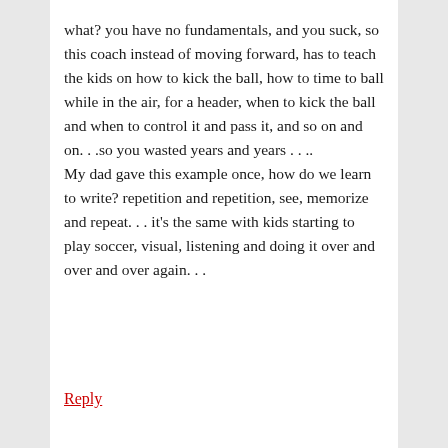what? you have no fundamentals, and you suck, so this coach instead of moving forward, has to teach the kids on how to kick the ball, how to time to ball while in the air, for a header, when to kick the ball and when to control it and pass it, and so on and on. . .so you wasted years and years . . .. My dad gave this example once, how do we learn to write? repetition and repetition, see, memorize and repeat. . . it's the same with kids starting to play soccer, visual, listening and doing it over and over and over again. . .
Reply